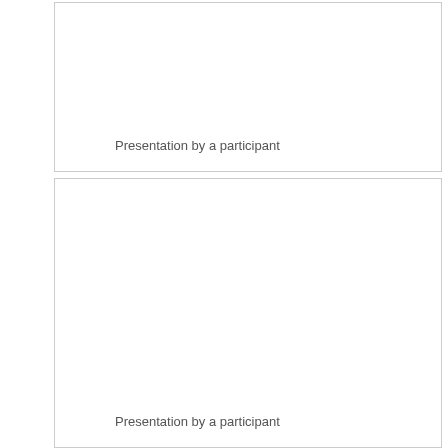[Figure (other): Blank presentation slide placeholder box with label 'Presentation by a participant' at bottom left]
[Figure (other): Blank presentation slide placeholder box with label 'Presentation by a participant' at bottom left]